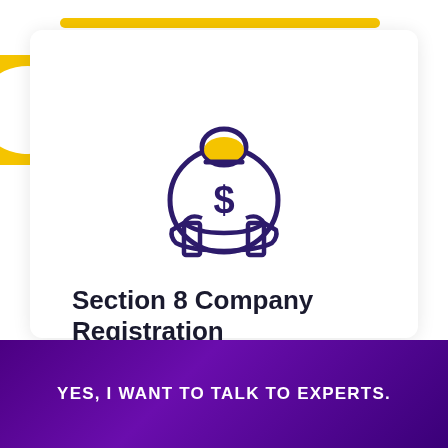[Figure (illustration): Hand holding a money bag with a dollar sign, icon style with purple outline and yellow highlight on the bag top]
Section 8 Company Registration
Learn more >
[Figure (logo): WhatsApp green circle button with white phone icon]
Questions? Let's Chat
YES, I WANT TO TALK TO EXPERTS.